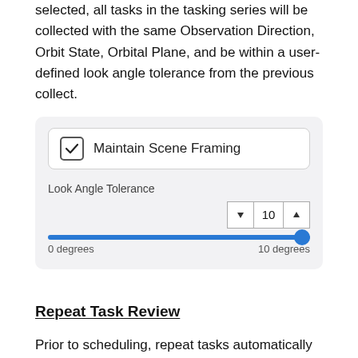repeat tasking requests. When Maintain Scene Framing is selected, all tasks in the tasking series will be collected with the same Observation Direction, Orbit State, Orbital Plane, and be within a user-defined look angle tolerance from the previous collect.
[Figure (screenshot): UI screenshot showing a checked 'Maintain Scene Framing' checkbox and a 'Look Angle Tolerance' slider set to 10 degrees (0 degrees to 10 degrees range).]
Repeat Task Review
Prior to scheduling, repeat tasks automatically go through a cost review step by the user in the Console UI. The entire